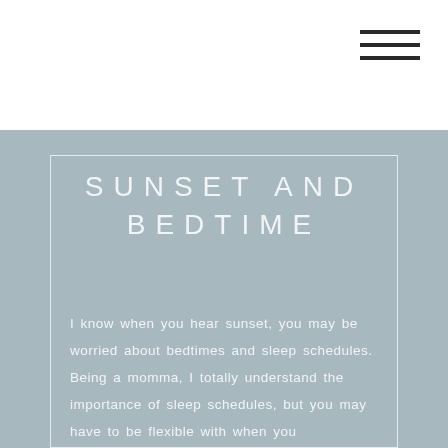[Figure (other): Hamburger menu icon with three horizontal lines in top-right corner]
SUNSET AND BEDTIME
I know when you hear sunset, you may be worried about bedtimes and sleep schedules. Being a momma, I totally understand the importance of sleep schedules, but you may have to be flexible with when you